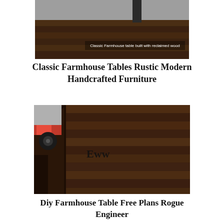[Figure (photo): Classic farmhouse table built with reclaimed wood, photo showing table surface with caption text overlay reading 'Classic Farmhouse table built with reclaimed wood']
Classic Farmhouse Tables Rustic Modern Handcrafted Furniture
[Figure (photo): Close-up photo of a dark brown stained wooden farmhouse table top with planks and corner leg detail, with 'Eww' text overlay, red equipment visible in background]
Diy Farmhouse Table Free Plans Rogue Engineer